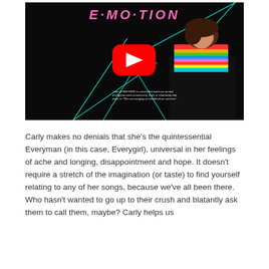[Figure (screenshot): YouTube video thumbnail showing Carly Rae Jepsen's album E·MO·TION. Dark background with neon geometric lines, a woman in a colorful striped sweater seated on the right, and a red YouTube play button in the center. Small italic caption text overlaid at the bottom center.]
Carly makes no denials that she's the quintessential Everyman (in this case, Everygirl), universal in her feelings of ache and longing, disappointment and hope. It doesn't require a stretch of the imagination (or taste) to find yourself relating to any of her songs, because we've all been there. Who hasn't wanted to go up to their crush and blatantly ask them to call them, maybe? Carly helps us